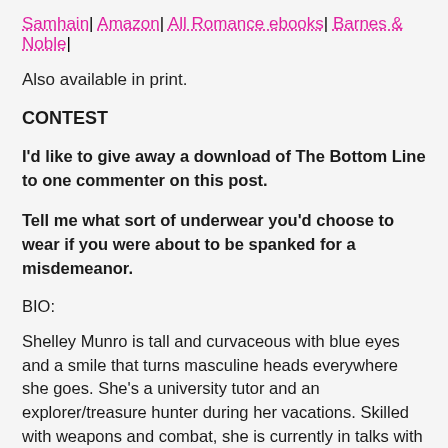Samhain| Amazon| All Romance ebooks| Barnes & Noble|
Also available in print.
CONTEST
I'd like to give away a download of The Bottom Line to one commenter on this post.
Tell me what sort of underwear you'd choose to wear if you were about to be spanked for a misdemeanor.
BIO:
Shelley Munro is tall and curvaceous with blue eyes and a smile that turns masculine heads everywhere she goes. She's a university tutor and an explorer/treasure hunter during her vacations. Skilled with weapons and combat, she is currently in talks with a producer about a television